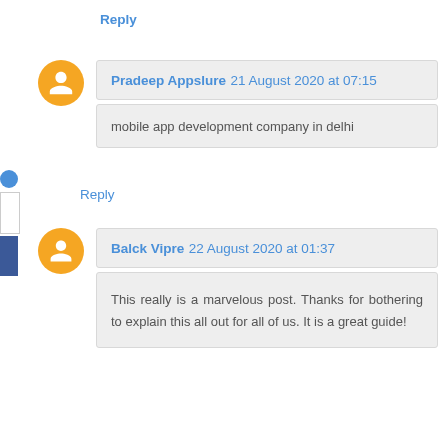Reply
Pradeep Appslure 21 August 2020 at 07:15
mobile app development company in delhi
Reply
Balck Vipre 22 August 2020 at 01:37
This really is a marvelous post. Thanks for bothering to explain this all out for all of us. It is a great guide!